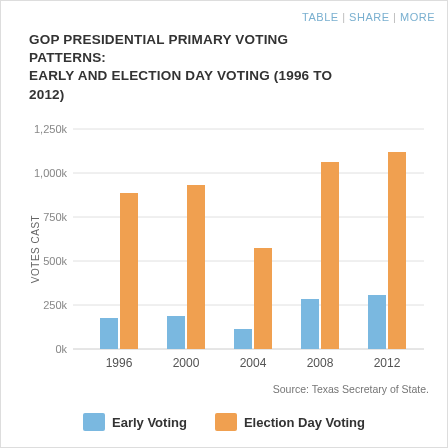TABLE | SHARE | MORE
GOP PRESIDENTIAL PRIMARY VOTING PATTERNS: EARLY AND ELECTION DAY VOTING (1996 TO 2012)
[Figure (grouped-bar-chart): GOP Presidential Primary Voting Patterns: Early and Election Day Voting (1996 to 2012)]
Source: Texas Secretary of State.